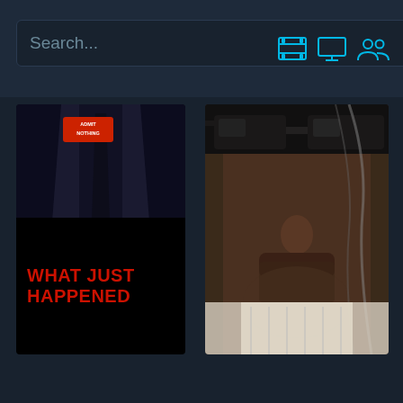[Figure (screenshot): App UI screenshot showing a search bar at the top with placeholder text 'Search...' and a magnifying glass icon, plus three navigation icons (film reel, monitor, people) on the right. Below are two movie poster thumbnails in a grid layout on a dark navy background. Left poster shows 'WHAT JUST HAPPENED' text in red on black, with a suited torso and a red 'ADMIT NOTHING' sticker. Right poster shows a close-up of a man's face wearing black sunglasses.]